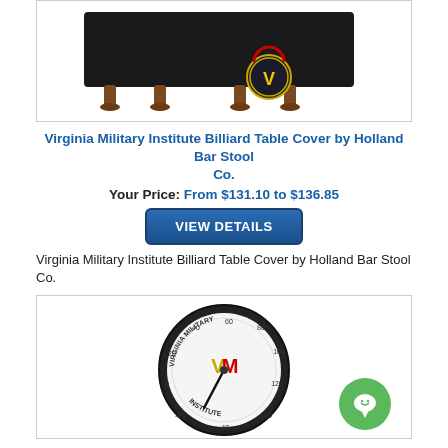[Figure (photo): Virginia Military Institute Billiard Table Cover product image showing a black pool table cover with ornate legs and VMI logo medallion]
Virginia Military Institute Billiard Table Cover by Holland Bar Stool Co.
Your Price: From $131.10 to $136.85
[Figure (other): VIEW DETAILS button]
Virginia Military Institute Billiard Table Cover by Holland Bar Stool Co.
[Figure (photo): Virginia Military Institute thermometer/gauge product image showing a round black-framed thermometer with VMI logo and temperature markings from -40 to 140]